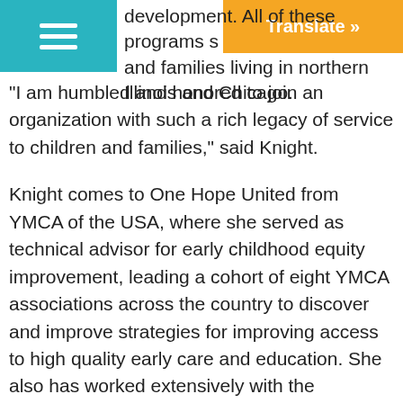development. All of these programs s… and families living in northern Illinois and Chicago.
“I am humbled and honored to join an organization with such a rich legacy of service to children and families,” said Knight.
Knight comes to One Hope United from YMCA of the USA, where she served as technical advisor for early childhood equity improvement, leading a cohort of eight YMCA associations across the country to discover and improve strategies for improving access to high quality early care and education. She also has worked extensively with the McCormick Center for Early Childhood Leadership at National Louis University as a quality assessor and trainer. She holds a PhD in education from